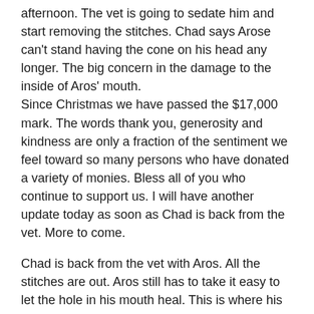afternoon. The vet is going to sedate him and start removing the stitches. Chad says Arose can't stand having the cone on his head any longer. The big concern in the damage to the inside of Aros' mouth. Since Christmas we have passed the $17,000 mark. The words thank you, generosity and kindness are only a fraction of the sentiment we feel toward so many persons who have donated a variety of monies. Bless all of you who continue to support us. I will have another update today as soon as Chad is back from the vet. More to come.
Chad is back from the vet with Aros. All the stitches are out. Aros still has to take it easy to let the hole in his mouth heal. This is where his fang was cut in half by the assailant.
Damian
December 24, 2021 by Damian Torres, Organizer
Hello, everyone and welcome to the Christmas Eve Aros update.